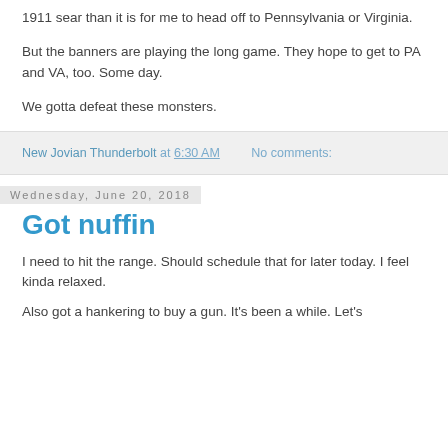1911 sear than it is for me to head off to Pennsylvania or Virginia.

But the banners are playing the long game.  They hope to get to PA and VA, too.  Some day.

We gotta defeat these monsters.
New Jovian Thunderbolt at 6:30 AM    No comments:
Wednesday, June 20, 2018
Got nuffin
I need to hit the range.  Should schedule that for later today.  I feel kinda relaxed.

Also got a hankering to buy a gun.  It's been a while.  Let's